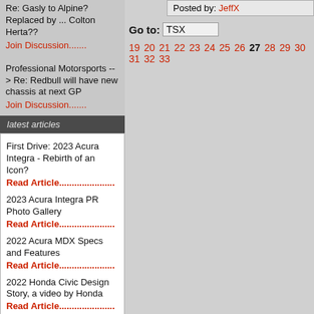Re: Gasly to Alpine? Replaced by ... Colton Herta??
Join Discussion.......
Professional Motorsports --> Re: Redbull will have new chassis at next GP
Join Discussion.......
latest articles
First Drive: 2023 Acura Integra - Rebirth of an Icon?
Read Article......................
2023 Acura Integra PR Photo Gallery
Read Article......................
2022 Acura MDX Specs and Features
Read Article......................
2022 Honda Civic Design Story, a video by Honda
Read Article......................
Photo Gallery: 2021 Acura TLX - Details and Cutaways
Read Article......................
Photo Gallery: 2021 Acura TLX A-Spec
Read Article......................
Posted by: JeffX
Go to: TSX
19 20 21 22 23 24 25 26 27 28 29 30 31 32 33